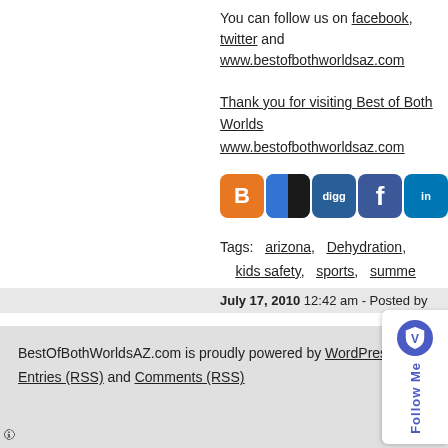You can follow us on facebook, twitter and www.bestofbothworldsaz.com
Thank you for visiting Best of Both Worlds www.bestofbothworldsaz.com
[Figure (infographic): Social media sharing icons: Blogger (orange), Delicious (blue/white), Digg (blue), Facebook (blue), LinkedIn (blue), Viadeo (blue), Reddit (gray), StumbleUpon (orange), Twitter (blue partial)]
Tags: arizona, Dehydration, kids safety, sports, summer
July 17, 2010 12:42 am - Posted by
BestOfBothWorldsAZ.com is proudly powered by WordPress Entries (RSS) and Comments (RSS)